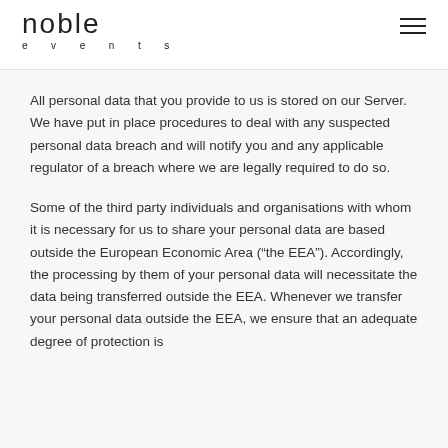noble events
All personal data that you provide to us is stored on our Server. We have put in place procedures to deal with any suspected personal data breach and will notify you and any applicable regulator of a breach where we are legally required to do so.
Some of the third party individuals and organisations with whom it is necessary for us to share your personal data are based outside the European Economic Area (“the EEA”). Accordingly, the processing by them of your personal data will necessitate the data being transferred outside the EEA. Whenever we transfer your personal data outside the EEA, we ensure that an adequate degree of protection is